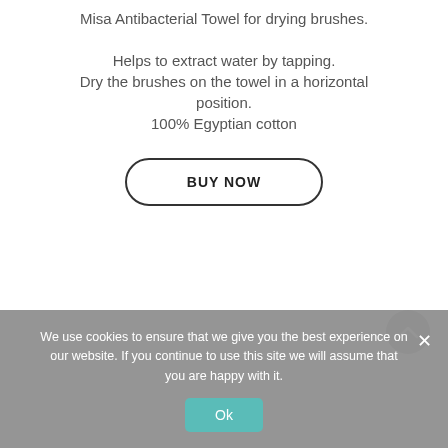Misa Antibacterial Towel for drying brushes.
Helps to extract water by tapping.
Dry the brushes on the towel in a horizontal position.
100% Egyptian cotton
BUY NOW
We use cookies to ensure that we give you the best experience on our website. If you continue to use this site we will assume that you are happy with it.
Ok